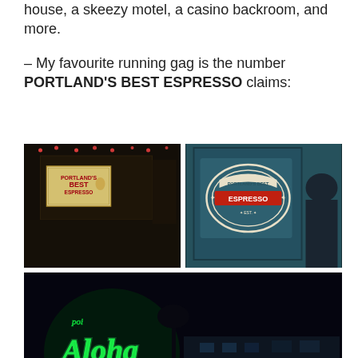house, a skeezy motel, a casino backroom, and more.
– My favourite running gag is the number PORTLAND'S BEST ESPRESSO claims:
[Figure (photo): Top-left: Dark night scene outside a bar/venue with a 'Portland's Best Espresso' sign visible, string lights, and people silhouetted.]
[Figure (photo): Top-right: Close-up of a teal-colored wall with a 'Portland's Best Espresso' badge-style logo sign, person visible on right edge.]
[Figure (photo): Bottom: Night exterior of the Aloha Motel with glowing green neon 'Aloha Inn' sign, 'Motel' letters, red 'Vacancy' sign, and dimly lit motel buildings in background.]